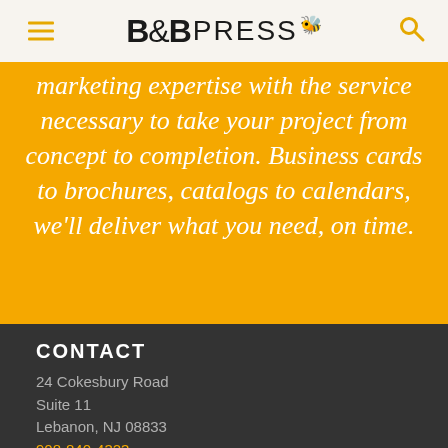B&B PRESS
marketing expertise with the service necessary to take your project from concept to completion. Business cards to brochures, catalogs to calendars, we'll deliver what you need, on time.
CONTACT
24 Cokesbury Road
Suite 11
Lebanon, NJ 08833
908-840-4323